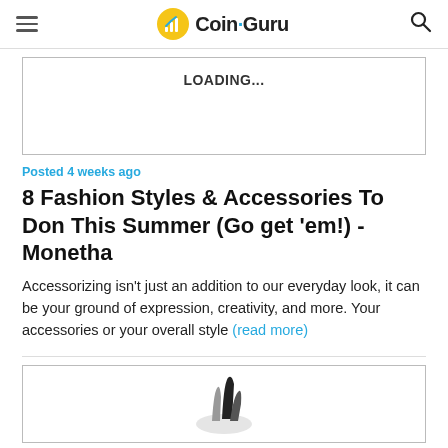Coin·Guru
[Figure (screenshot): Loading placeholder box with 'LOADING...' text]
Posted 4 weeks ago
8 Fashion Styles & Accessories To Don This Summer (Go get 'em!) - Monetha
Accessorizing isn't just an addition to our everyday look, it can be your ground of expression, creativity, and more. Your accessories or your overall style (read more)
[Figure (illustration): Partially visible image at bottom of page with dark graphic element]